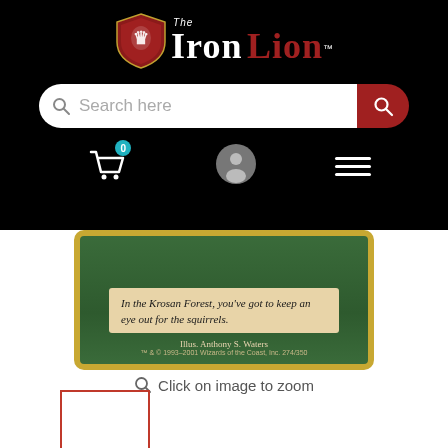[Figure (logo): The Iron Lion logo with shield emblem, white text 'Iron' and red text 'Lion' on black background]
[Figure (screenshot): Search bar with 'Search here' placeholder and red search button, nav icons: cart with badge 0, user profile icon, hamburger menu]
[Figure (photo): Bottom portion of a Magic: The Gathering card showing green background with flavor text 'In the Krosan Forest, you've got to keep an eye out for the squirrels.' on tan background, Illus. Anthony S. Waters, TM & C 1993-2001 Wizards of the Coast Inc. 274/350]
Click on image to zoom
[Figure (photo): Small thumbnail image placeholder with red border]